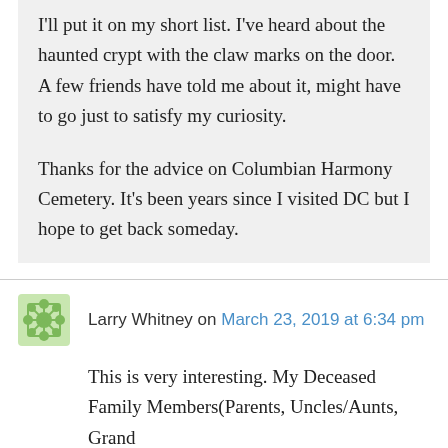I'll put it on my short list. I've heard about the haunted crypt with the claw marks on the door. A few friends have told me about it, might have to go just to satisfy my curiosity.

Thanks for the advice on Columbian Harmony Cemetery. It's been years since I visited DC but I hope to get back someday.
Larry Whitney on March 23, 2019 at 6:34 pm
This is very interesting. My Deceased Family Members(Parents, Uncles/Aunts, Grand